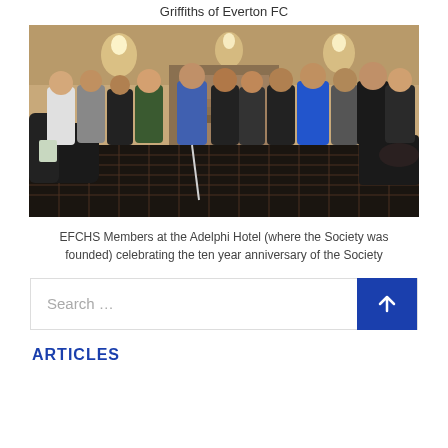Griffiths of Everton FC
[Figure (photo): Group of approximately 12 men standing together in the lobby/corridor of the Adelphi Hotel, posing for a photo. The interior shows ornate lighting, carpeted floor with a pattern, and classic hotel decor.]
EFCHS Members at the Adelphi Hotel (where the Society was founded) celebrating the ten year anniversary of the Society
Search …
ARTICLES